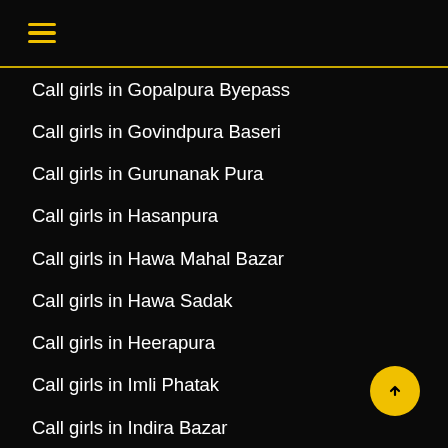☰
Call girls in Gopalpura Byepass
Call girls in Govindpura Baseri
Call girls in Gurunanak Pura
Call girls in Hasanpura
Call girls in Hawa Mahal Bazar
Call girls in Hawa Sadak
Call girls in Heerapura
Call girls in Imli Phatak
Call girls in Indira Bazar
Call girls in Indra Bazar
Call girls in Industrial Estate
Call girls in Jagatpura
Call girls in Jaipur Railway Station
Call girls in Jaisingh Pura Khor
Call girls in Jamdoli
Call girls in Janta Colony
Call girls in Jawahar Nagar